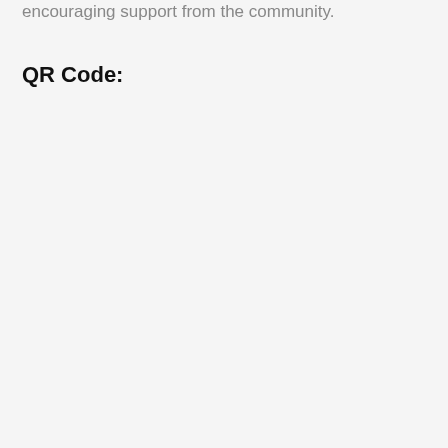encouraging support from the community.
QR Code: